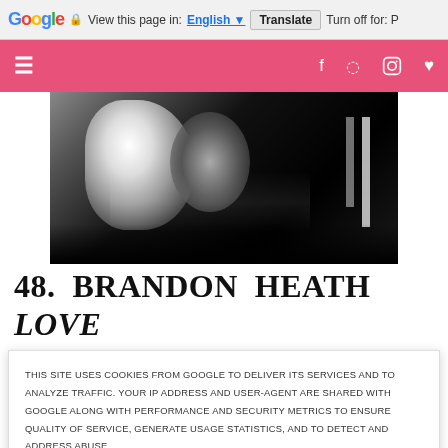Google  View this page in: English [▼]  Translate  Turn off for: P
[Figure (screenshot): Pink website navigation bar with hamburger menu icon on left and social media icons (Facebook, Pinterest, Instagram, heart/favorites) on right, white icons on pink/salmon background]
[Figure (photo): Black and white photo of a person or figure, high contrast monochrome image]
48. BRANDON HEATH LOVE NEVER FAILS
THIS SITE USES COOKIES FROM GOOGLE TO DELIVER ITS SERVICES AND TO ANALYZE TRAFFIC. YOUR IP ADDRESS AND USER-AGENT ARE SHARED WITH GOOGLE ALONG WITH PERFORMANCE AND SECURITY METRICS TO ENSURE QUALITY OF SERVICE, GENERATE USAGE STATISTICS, AND TO DETECT AND ADDRESS ABUSE.
LEARN MORE   OK